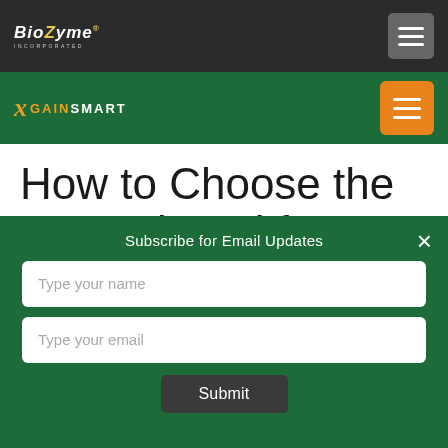[Figure (logo): BioZyme Incorporated logo in top dark navigation bar]
[Figure (logo): GainSmart logo in green navigation bar]
How to Choose the Best Mineral for
Subscribe for Email Updates
Type your name
Type your email
Submit